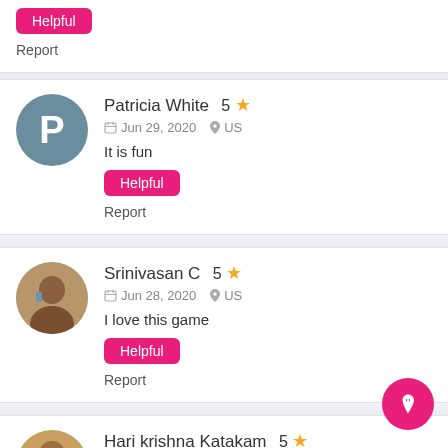Report
Patricia White  5 ★
Jun 29, 2020  US
It is fun
Helpful
Report
Srinivasan C  5 ★
Jun 28, 2020  US
I love this game
Helpful
Report
Hari krishna Katakam  5 ★
Jun 28, 2020  US